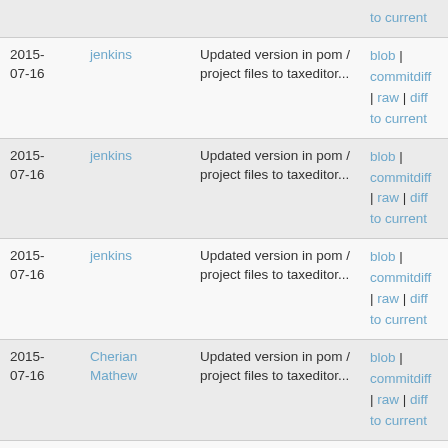| Date | Author | Description | Links |
| --- | --- | --- | --- |
| 2015-07-16 | jenkins | Updated version in pom / project files to taxeditor... | blob | commitdiff | raw | diff to current |
| 2015-07-16 | jenkins | Updated version in pom / project files to taxeditor... | blob | commitdiff | raw | diff to current |
| 2015-07-16 | jenkins | Updated version in pom / project files to taxeditor... | blob | commitdiff | raw | diff to current |
| 2015-07-16 | Cherian Mathew | Updated version in pom / project files to taxeditor... | blob | commitdiff | raw | diff to current |
| 2015-07-16 | jenkins | Updated version in pom / project files to taxeditor... | blob | commitdiff | raw | diff to current |
| 2015- | Cherian... | Updated version in pom / project... | blob |